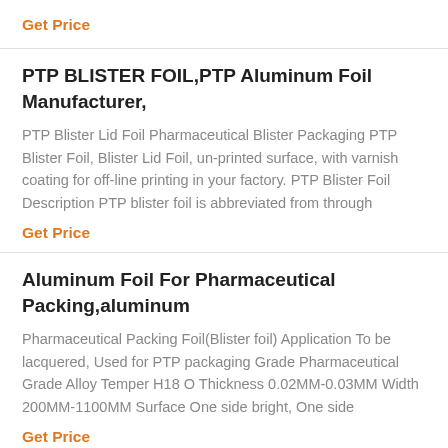Get Price
PTP BLISTER FOIL,PTP Aluminum Foil Manufacturer,
PTP Blister Lid Foil Pharmaceutical Blister Packaging PTP Blister Foil, Blister Lid Foil, un-printed surface, with varnish coating for off-line printing in your factory. PTP Blister Foil Description PTP blister foil is abbreviated from through
Get Price
Aluminum Foil For Pharmaceutical Packing,aluminum
Pharmaceutical Packing Foil(Blister foil) Application To be lacquered, Used for PTP packaging Grade Pharmaceutical Grade Alloy Temper H18 O Thickness 0.02MM-0.03MM Width 200MM-1100MM Surface One side bright, One side
Get Price